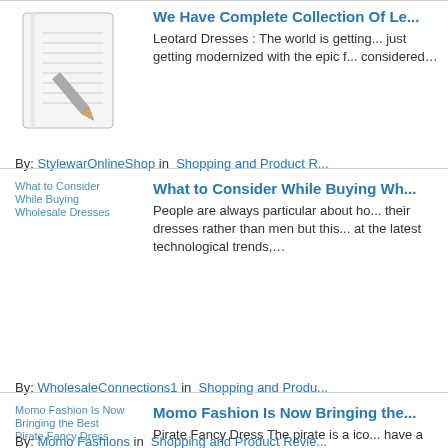[Figure (illustration): Notepad with pencil icon thumbnail for article about leotard dresses]
We Have Complete Collection Of Le...
Leotard Dresses : The world is getting... just getting modernized with the epic f... considered…
By: StylewarOnlineShop in  Shopping and Product R...
[Figure (illustration): Broken/alt-text image for What to Consider While Buying Wholesale Dresses article]
What to Consider While Buying Wh...
People are always particular about ho... their dresses rather than men but this... at the latest technological trends,…
By: WholesaleConnections1 in  Shopping and Produ...
[Figure (illustration): Broken/alt-text image for Momo Fashion Is Now Bringing the Best Pirate Fancy Dress article]
Momo Fashion Is Now Bringing the...
Pirate Fancy Dress The pirate is a ico... have a such look to see themselves i...
By: Momo Fashions in  Shopping and Product Revie...